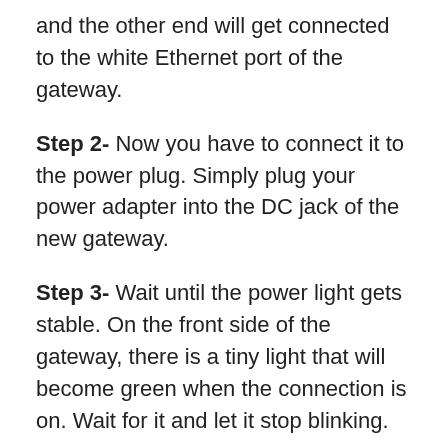and the other end will get connected to the white Ethernet port of the gateway.
Step 2- Now you have to connect it to the power plug. Simply plug your power adapter into the DC jack of the new gateway.
Step 3- Wait until the power light gets stable. On the front side of the gateway, there is a tiny light that will become green when the connection is on. Wait for it and let it stop blinking.
Step 4- If you are using a wired connection, connect one end of the yellow color Ethernet cable to the yellow Ethernet port on the gateway and connect the other end to your device.